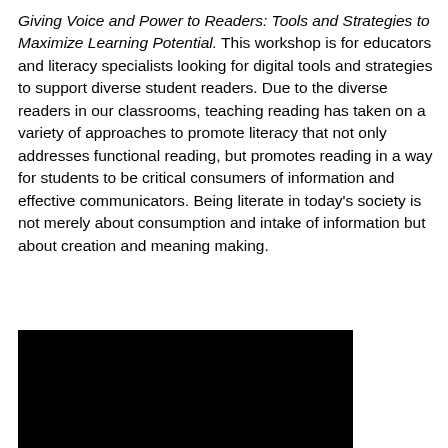Giving Voice and Power to Readers: Tools and Strategies to Maximize Learning Potential. This workshop is for educators and literacy specialists looking for digital tools and strategies to support diverse student readers. Due to the diverse readers in our classrooms, teaching reading has taken on a variety of approaches to promote literacy that not only addresses functional reading, but promotes reading in a way for students to be critical consumers of information and effective communicators. Being literate in today's society is not merely about consumption and intake of information but about creation and meaning making.
[Figure (photo): A mostly black rectangular image, likely a video thumbnail or photo, positioned in the lower left portion of the page.]